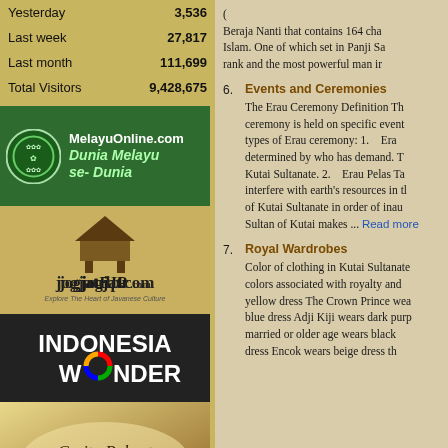| Yesterday | 3,536 |
| Last week | 27,817 |
| Last month | 111,699 |
| Total Visitors | 9,428,675 |
[Figure (logo): MelayuOnline.com banner with green background, circular logo on left, text 'MelayuOnline.com Dunia Melayu se-Dunia']
[Figure (logo): JogjaTrip.com banner with traditional Javanese gazebo icon]
[Figure (logo): Indonesia Wonder banner with dark background and colorful globe O]
[Figure (logo): Cerita Rakyat Nusantara banner in gold/brown tones]
Beraja Nanti that contains 164 characters Islam. One of which set in Panji Sa rank and the most powerful man in belief, King ensures the welfare and mentions that: "The King of noble, c
6. Events and Ceremonies - The Erau Ceremony Definition. The ceremony is held on specific events. Types of Erau ceremony: 1. Erau determined by who has demand. The Kutai Sultanate. 2. Erau Pelas Ta interfere with earth's resources in the of Kutai Sultanate in order of inau Sultan of Kutai makes ... Read more
7. Royal Wardrobes - Color of clothing in Kutai Sultanate colors associated with royalty and yellow dress The Crown Prince wears blue dress Adji Kiji wears dark purp married or older age wears black dress Encok wears beige dress th